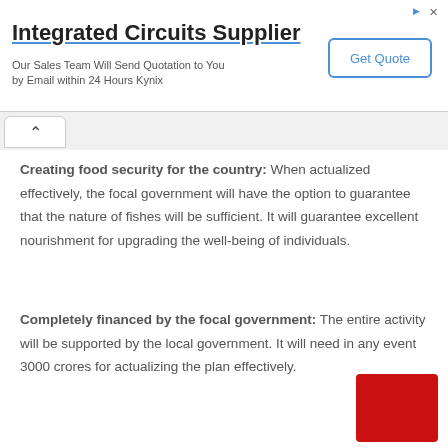[Figure (other): Advertisement banner for Integrated Circuits Supplier by Kynix with Get Quote button]
Creating food security for the country: When actualized effectively, the focal government will have the option to guarantee that the nature of fishes will be sufficient. It will guarantee excellent nourishment for upgrading the well-being of individuals.
Completely financed by the focal government: The entire activity will be supported by the local government. It will need in any event 3000 crores for actualizing the plan effectively.